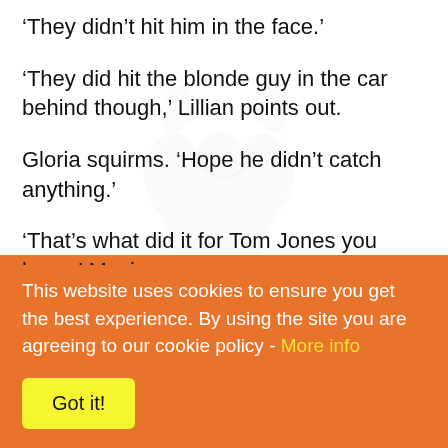‘They didn’t hit him in the face.’
‘They did hit the blonde guy in the car behind though,’ Lillian points out.
Gloria squirms. ‘Hope he didn’t catch anything.’
‘That’s what did it for Tom Jones you know,’ Mavis says.
‘What?’ Elaine asks, frowning.
This website uses cookies to ensure you get the best experience. By using the site you are agreeing to our cookie policy - More info
Got it!